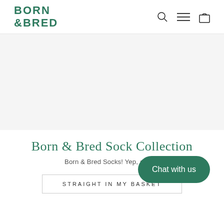BORN & BRED
[Figure (other): Large blank/hero image area with light grey background]
Born & Bred Sock Collection
Born & Bred Socks! Yep, ama…
Chat with us
STRAIGHT IN MY BASKET